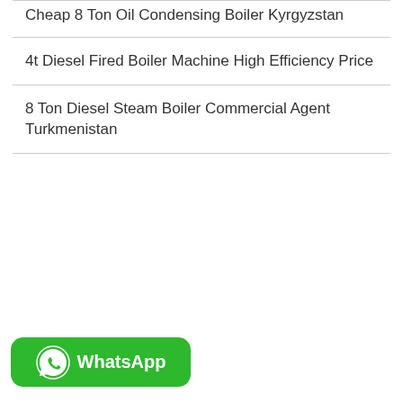Cheap 8 Ton Oil Condensing Boiler Kyrgyzstan
4t Diesel Fired Boiler Machine High Efficiency Price
8 Ton Diesel Steam Boiler Commercial Agent Turkmenistan
[Figure (logo): WhatsApp green button with phone icon and WhatsApp text label]